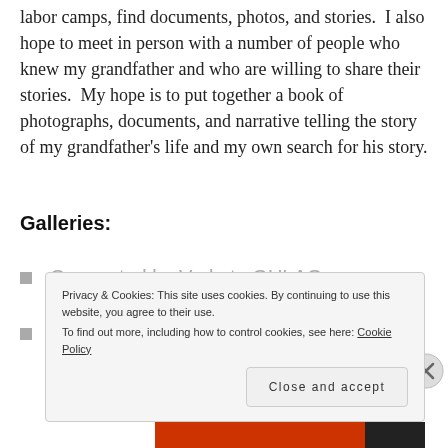labor camps, find documents, photos, and stories.  I also hope to meet in person with a number of people who knew my grandfather and who are willing to share their stories.  My hope is to put together a book of photographs, documents, and narrative telling the story of my grandfather's life and my own search for his story.
Galleries:
Connected by Vorkuta GULAG
Documents
Privacy & Cookies: This site uses cookies. By continuing to use this website, you agree to their use.
To find out more, including how to control cookies, see here: Cookie Policy